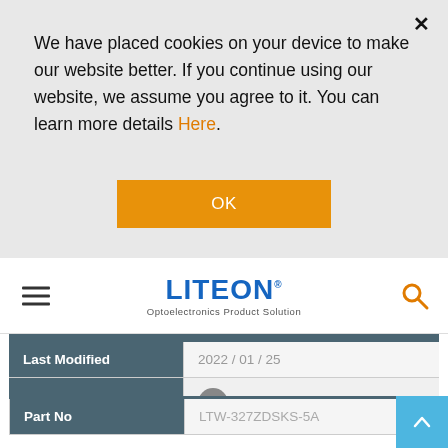We have placed cookies on your device to make our website better. If you continue using our website, we assume you agree to it. You can learn more details Here.
OK
[Figure (logo): LITEON Optoelectronics Product Solution logo]
| Last Modified | 2022 / 01 / 25 |
| --- | --- |
| Download |  |
| Part No | LTW-327ZDSKS-5A |
| --- | --- |